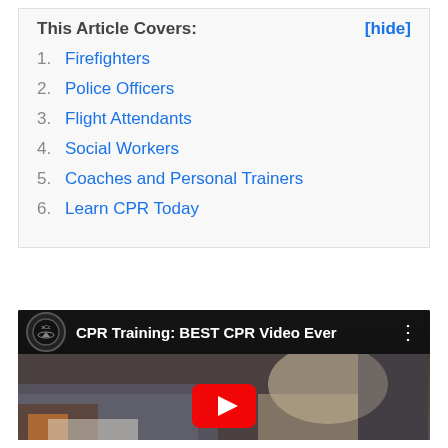This Article Covers:
1. Firefighters
2. Police Officers
3. Flight Attendants
4. Social Workers
5. Coaches and Personal Trainers
6. Learn CPR Today
[Figure (screenshot): YouTube video thumbnail showing CPR Training: BEST CPR Video Ever, with a person leaning over performing CPR, and a YouTube play button partially visible at the bottom.]